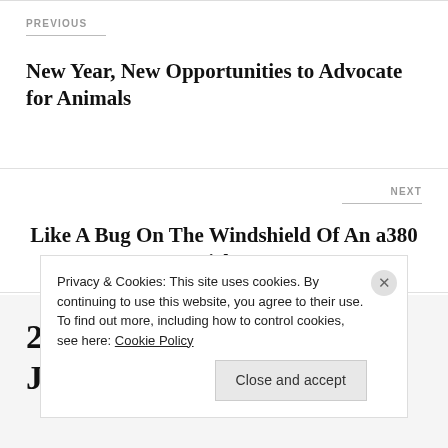PREVIOUS
New Year, New Opportunities to Advocate for Animals
NEXT
Like A Bug On The Windshield Of An a380 Airbus
26 thoughts on “Black Jaguar
Privacy & Cookies: This site uses cookies. By continuing to use this website, you agree to their use.
To find out more, including how to control cookies, see here: Cookie Policy
Close and accept